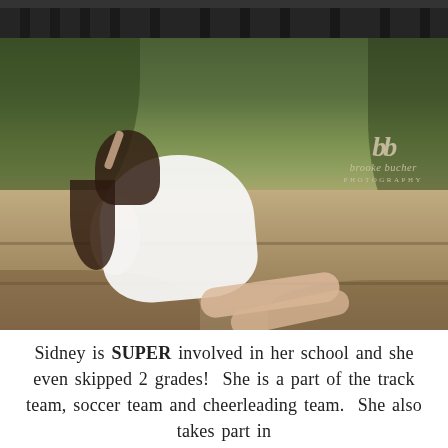[Figure (photo): A young woman with long dark wavy hair sits barefoot on outdoor stone steps, wearing a white sleeveless dress. She poses with one hand raised behind her head. Green foliage and trees are visible in the background. A watermark reads 'bb brooke bucher PHOTOGRAPHY' in the upper right area of the photo. The top of the image shows a dark iron fence or bridge structure.]
Sidney is SUPER involved in her school and she even skipped 2 grades!  She is a part of the track team, soccer team and cheerleading team.  She also takes part in